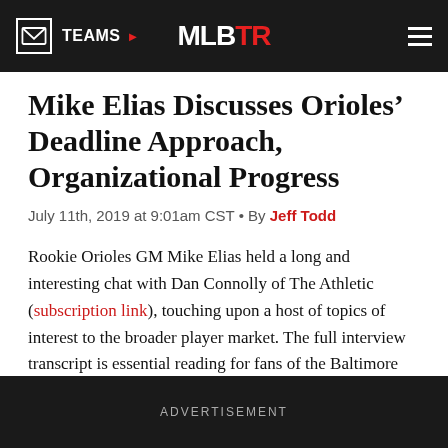TEAMS | MLBTR | ☰
Mike Elias Discusses Orioles' Deadline Approach, Organizational Progress
July 11th, 2019 at 9:01am CST • By Jeff Todd
Rookie Orioles GM Mike Elias held a long and interesting chat with Dan Connolly of The Athletic (subscription link), touching upon a host of topics of interest to the broader player market. The full interview transcript is essential reading for fans of the Baltimore organization, in particular, but we'll cover a few key bits of hot stove relevance here.
ADVERTISEMENT